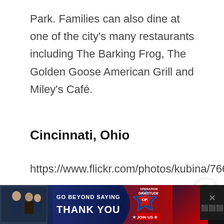Park. Families can also dine at one of the city's many restaurants including The Barking Frog, The Golden Goose American Grill and Miley's Café.
Cincinnati, Ohio
https://www.flickr.com/photos/kubina/766201912/
[Figure (infographic): Advertisement bar at the bottom: 'GO BEYOND SAYING THANK YOU' with Operation Gratitude logo and JOIN US button. Dark background with people in military/civilian attire on the left.]